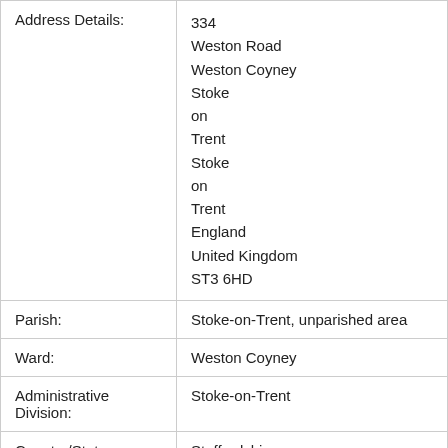| Field | Value |
| --- | --- |
| Address Details: | 334
Weston Road
Weston Coyney
Stoke
on
Trent
Stoke
on
Trent
England
United Kingdom
ST3 6HD |
| Parish: | Stoke-on-Trent, unparished area |
| Ward: | Weston Coyney |
| Administrative Division: | Stoke-on-Trent |
| Country/State: | Staffordshire |
| Constituency: | Stoke-on-Trent South |